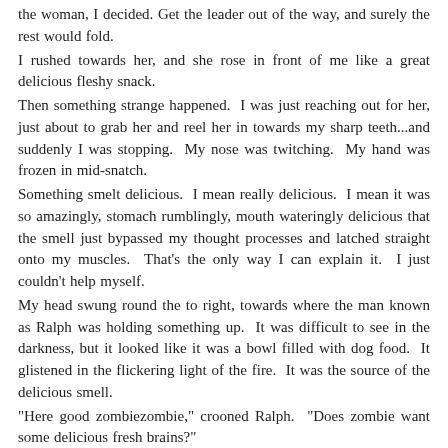the woman, I decided. Get the leader out of the way, and surely the rest would fold.
I rushed towards her, and she rose in front of me like a great delicious fleshy snack.
Then something strange happened.  I was just reaching out for her, just about to grab her and reel her in towards my sharp teeth...and suddenly I was stopping.  My nose was twitching.  My hand was frozen in mid-snatch.
Something smelt delicious.  I mean really delicious.  I mean it was so amazingly, stomach rumblingly, mouth wateringly delicious that the smell just bypassed my thought processes and latched straight onto my muscles.  That's the only way I can explain it.  I just couldn't help myself.
My head swung round the to right, towards where the man known as Ralph was holding something up.  It was difficult to see in the darkness, but it looked like it was a bowl filled with dog food.  It glistened in the flickering light of the fire.  It was the source of the delicious smell.
"Here good zombiezombie," crooned Ralph.  "Does zombie want some delicious fresh brains?"
I had to admit, zombie did.